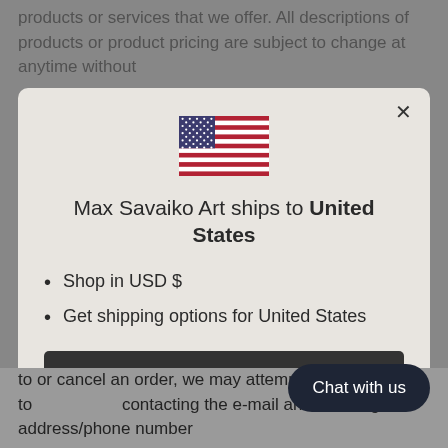products or services that we offer. All descriptions of products or product pricing are subject to change at anytime without
[Figure (illustration): Modal dialog box with US flag icon showing 'Max Savaiko Art ships to United States' with shop options]
Max Savaiko Art ships to United States
Shop in USD $
Get shipping options for United States
Shop now
Change shipping country
Chat with us
to or cancel an order, we may attempt to contacting the e-mail and/or billing address/phone number